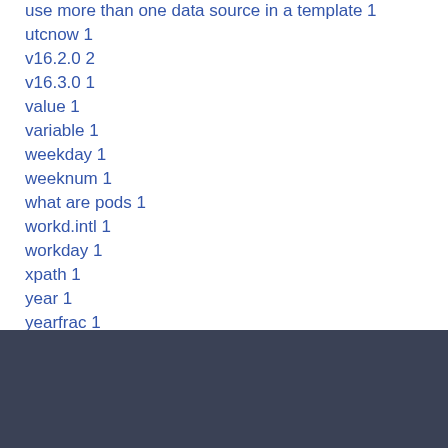use more than one data source in a template 1
utcnow 1
v16.2.0 2
v16.3.0 1
value 1
variable 1
weekday 1
weeknum 1
what are pods 1
workd.intl 1
workday 1
xpath 1
year 1
yearfrac 1